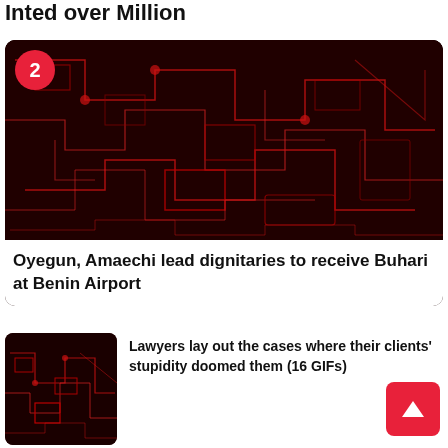Inted over million
[Figure (photo): Red and black circuit board image with numbered badge '2' in top left corner]
Oyegun, Amaechi lead dignitaries to receive Buhari at Benin Airport
[Figure (photo): Small red and black circuit board thumbnail image]
Lawyers lay out the cases where their clients' stupidity doomed them (16 GIFs)